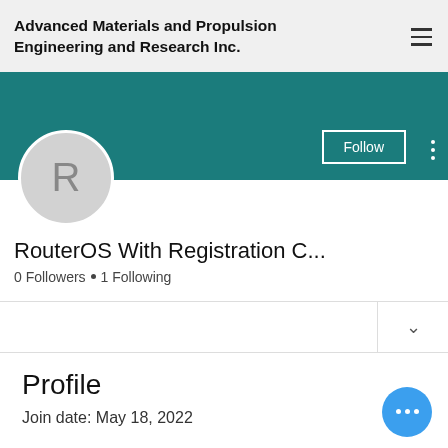Advanced Materials and Propulsion Engineering and Research Inc.
[Figure (screenshot): Teal/dark-cyan banner background for profile page]
Follow
[Figure (illustration): Circular avatar placeholder with letter R on grey background]
RouterOS With Registration C...
0 Followers • 1 Following
Profile
Join date: May 18, 2022